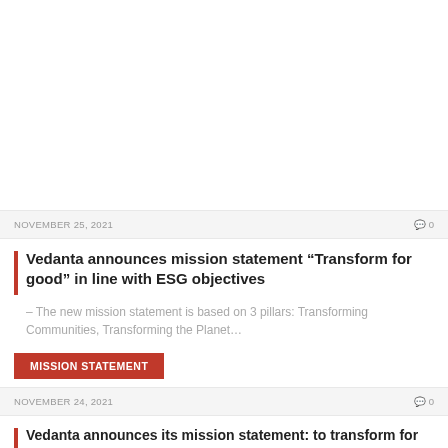NOVEMBER 25, 2021  ◎ 0
Vedanta announces mission statement “Transform for good” in line with ESG objectives
– The new mission statement is based on 3 pillars: Transforming Communities, Transforming the Planet…
MISSION STATEMENT
NOVEMBER 24, 2021  ◎ 0
Vedanta announces its mission statement: to transform for good